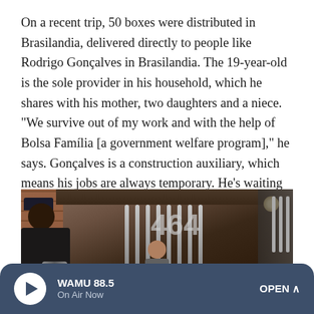On a recent trip, 50 boxes were distributed in Brasilandia, delivered directly to people like Rodrigo Gonçalves in Brasilandia. The 19-year-old is the sole provider in his household, which he shares with his mother, two daughters and a niece. "We survive out of my work and with the help of Bolsa Família [a government welfare program]," he says. Gonçalves is a construction auxiliary, which means his jobs are always temporary. He's waiting for the next one.
[Figure (photo): Photo of a young man standing behind an iron gate in front of a concrete and brick building with the number 464 written on the wall. A man on the left holds a large barrel/cylinder. A light fixture is visible in the upper right corner.]
WAMU 88.5 — On Air Now — OPEN